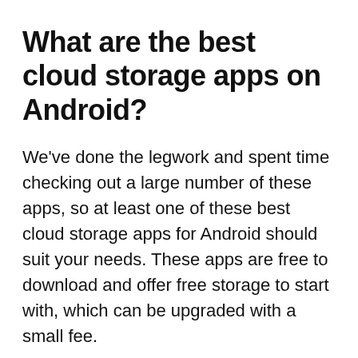What are the best cloud storage apps on Android?
We've done the legwork and spent time checking out a large number of these apps, so at least one of these best cloud storage apps for Android should suit your needs. These apps are free to download and offer free storage to start with, which can be upgraded with a small fee.